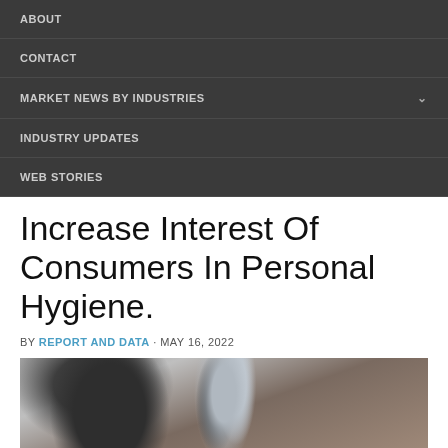ABOUT
CONTACT
MARKET NEWS BY INDUSTRIES
INDUSTRY UPDATES
WEB STORIES
Increase Interest Of Consumers In Personal Hygiene.
BY REPORT AND DATA · MAY 16, 2022
[Figure (photo): Close-up photo of a shaving brush in a silver bowl and a razor blade, on a wooden background.]
[Figure (infographic): Social media share bar with Facebook, Twitter, LinkedIn, WhatsApp, Email, and Share buttons.]